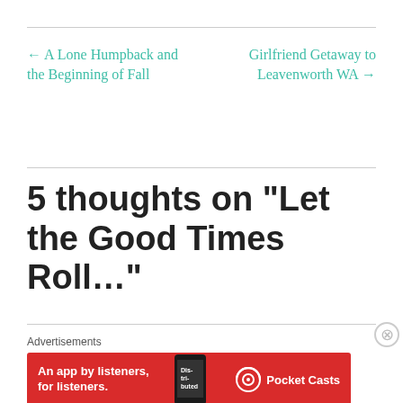← A Lone Humpback and the Beginning of Fall
Girlfriend Getaway to Leavenworth WA →
5 thoughts on “Let the Good Times Roll…”
Advertisements
[Figure (other): Red advertisement banner for Pocket Casts app reading 'An app by listeners, for listeners.' with Pocket Casts logo and phone image]